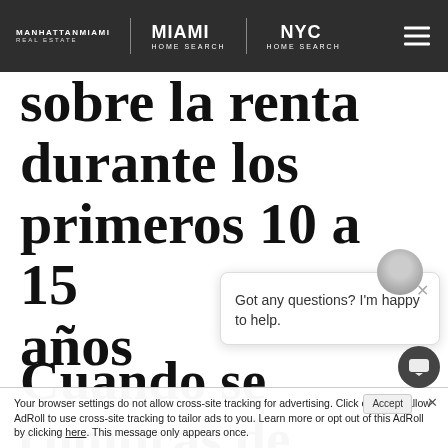MANHATTANMIAMI REAL ESTATE | MIAMI HOME SEARCH | NYC HOME SEARCH
sobre la renta durante los primeros 10 a 15 años
Cuando se compras de bienes raices
Got any questions? I'm happy to help.
Your browser settings do not allow cross-site tracking for advertising. Click on this to allow AdRoll to use cross-site tracking to tailor ads to you. Learn more or opt out of this AdRoll by clicking here. This message only appears once.